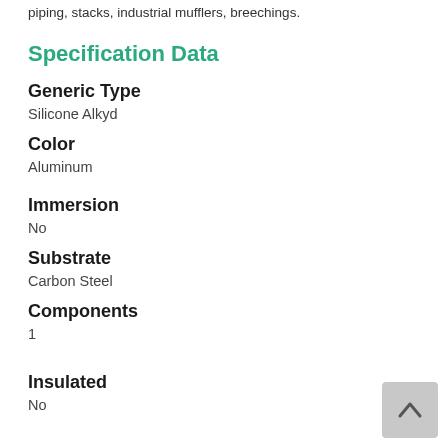piping, stacks, industrial mufflers, breechings.
Specification Data
Generic Type
Silicone Alkyd
Color
Aluminum
Immersion
No
Substrate
Carbon Steel
Components
1
Insulated
No